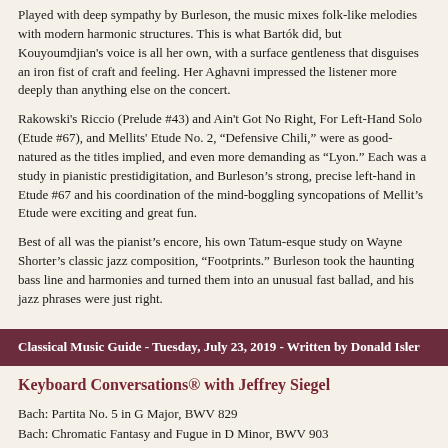Played with deep sympathy by Burleson, the music mixes folk-like melodies with modern harmonic structures. This is what Bartók did, but Kouyoumdjian's voice is all her own, with a surface gentleness that disguises an iron fist of craft and feeling. Her Aghavni impressed the listener more deeply than anything else on the concert.
Rakowski's Riccio (Prelude #43) and Ain't Got No Right, For Left-Hand Solo (Etude #67), and Mellits' Etude No. 2, "Defensive Chili," were as good-natured as the titles implied, and even more demanding as "Lyon." Each was a study in pianistic prestidigitation, and Burleson's strong, precise left-hand in Etude #67 and his coordination of the mind-boggling syncopations of Mellit's Etude were exciting and great fun.
Best of all was the pianist's encore, his own Tatum-esque study on Wayne Shorter's classic jazz composition, "Footprints." Burleson took the haunting bass line and harmonies and turned them into an unusual fast ballad, and his jazz phrases were just right.
Classical Music Guide - Tuesday, July 23, 2019 - Written by Donald Isler
Keyboard Conversations® with Jeffrey Siegel
Bach: Partita No. 5 in G Major, BWV 829
Bach: Chromatic Fantasy and Fugue in D Minor, BWV 903
Chopin: Polonaise-Fantaisie in A-Flat Major, Op. 61